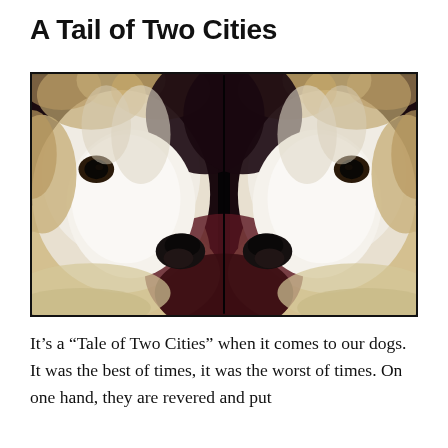A Tail of Two Cities
[Figure (photo): A mirrored close-up photograph of a fluffy white/beige dog facing forward, creating a symmetrical image where the dog appears twice nose-to-nose. The background has dark red and black tones. The dog has shaggy fur and dark eyes.]
It’s a “Tale of Two Cities” when it comes to our dogs. It was the best of times, it was the worst of times. On one hand, they are revered and put